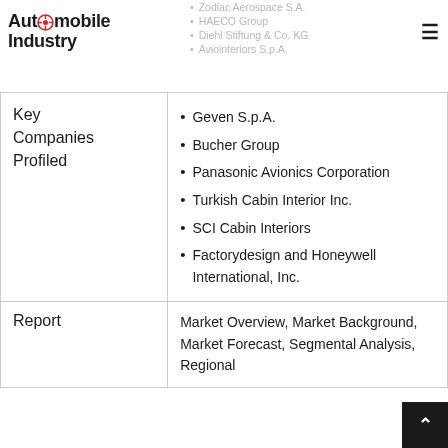Automobile Industry
Zodiac Aerospace S.A.
HAECO Group
Diehl Stiftung & Co. KG
Aviointeriors S.p.A.
|  |  |
| --- | --- |
| Key Companies Profiled | Geven S.p.A.
Bucher Group
Panasonic Avionics Corporation
Turkish Cabin Interior Inc.
SCI Cabin Interiors
Factorydesign and Honeywell International, Inc. |
| Report | Market Overview, Market Background, Market Forecast, Segmental Analysis, Regional... |